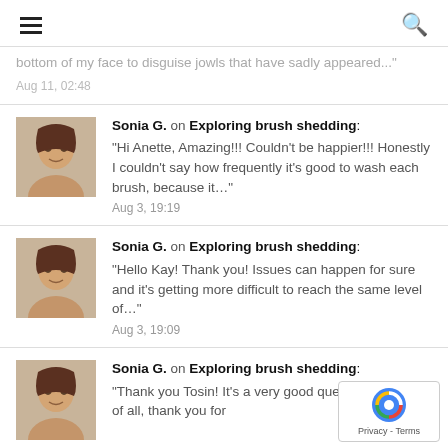Navigation header with menu and search icons
bottom of my face to disguise jowls that have sadly appeared... Aug 11, 02:48
Sonia G. on Exploring brush shedding: "Hi Anette, Amazing!!! Couldn't be happier!!! Honestly I couldn't say how frequently it's good to wash each brush, because it..." Aug 3, 19:19
Sonia G. on Exploring brush shedding: "Hello Kay! Thank you! Issues can happen for sure and it's getting more difficult to reach the same level of..." Aug 3, 19:09
Sonia G. on Exploring brush shedding: "Thank you Tosin! It's a very good question, but first of all, thank you for